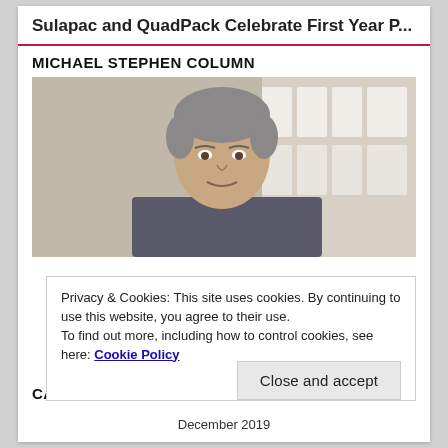Sulapac and QuadPack Celebrate First Year P...
MICHAEL STEPHEN COLUMN
[Figure (photo): Portrait photo of a middle-aged man with grey hair, wearing a suit, photographed indoors with white shelving visible in the background.]
Privacy & Cookies: This site uses cookies. By continuing to use this website, you agree to their use.
To find out more, including how to control cookies, see here: Cookie Policy
Close and accept
CALENDAR OF ARTICLES